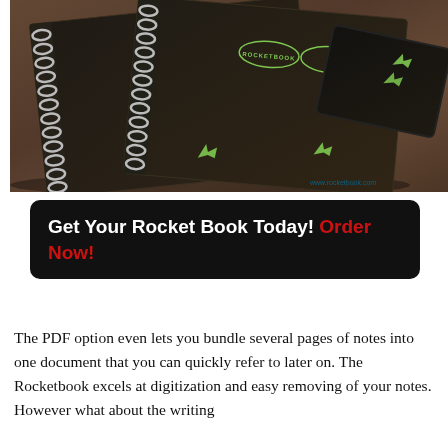[Figure (photo): Photo of two Rocketbook spiral notebooks and a tablet laid on a wooden surface, showing the Rocketbook logo on each cover and green arrow icons.]
Get Your Rocket Book Today! Order Now!
The PDF option even lets you bundle several pages of notes into one document that you can quickly refer to later on. The Rocketbook excels at digitization and easy removing of your notes. However what about the writing